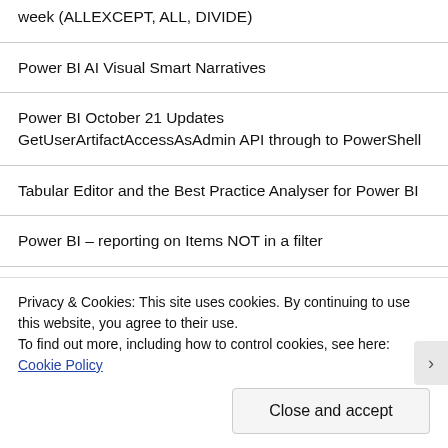week (ALLEXCEPT, ALL, DIVIDE)
Power BI AI Visual Smart Narratives
Power BI October 21 Updates GetUserArtifactAccessAsAdmin API through to PowerShell
Tabular Editor and the Best Practice Analyser for Power BI
Power BI – reporting on Items NOT in a filter
Azure SQL Database Dev to Production Part 4
Privacy & Cookies: This site uses cookies. By continuing to use this website, you agree to their use.
To find out more, including how to control cookies, see here: Cookie Policy